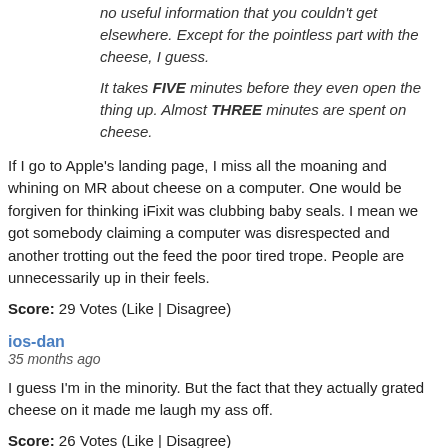no useful information that you couldn't get elsewhere. Except for the pointless part with the cheese, I guess.
It takes FIVE minutes before they even open the thing up. Almost THREE minutes are spent on cheese.
If I go to Apple's landing page, I miss all the moaning and whining on MR about cheese on a computer. One would be forgiven for thinking iFixit was clubbing baby seals. I mean we got somebody claiming a computer was disrespected and another trotting out the feed the poor tired trope. People are unnecessarily up in their feels.
Score: 29 Votes (Like | Disagree)
ios-dan
35 months ago
I guess I'm in the minority. But the fact that they actually grated cheese on it made me laugh my ass off.
Score: 26 Votes (Like | Disagree)
Read All Comments